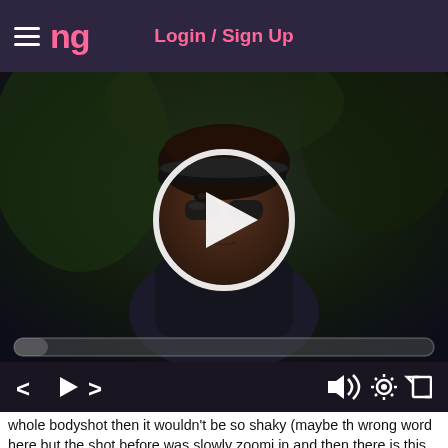NG  Login / Sign Up
[Figure (screenshot): Video player showing an animated character (dark-skinned person with sunglasses) on a dark background, with a large circular play button overlay and a progress bar at the bottom.]
whole bodyshot then it wouldn't be so shaky (maybe the wrong word here but the shot before was slowly zooming in and then there is this quick cut and a quick pan up, t feels a little rough to watch, maybe you could have ma a static shot just on the upper body..^^)
Buuut after all, very solid animation style, good lipsync and nice gigglemoment, cant stop watching it :D
4.5/5 :)